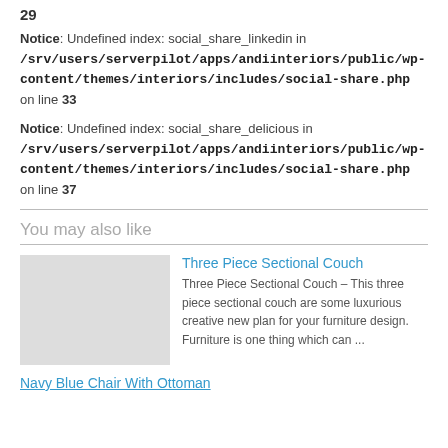29
Notice: Undefined index: social_share_linkedin in /srv/users/serverpilot/apps/andiinteriors/public/wp-content/themes/interiors/includes/social-share.php on line 33
Notice: Undefined index: social_share_delicious in /srv/users/serverpilot/apps/andiinteriors/public/wp-content/themes/interiors/includes/social-share.php on line 37
You may also like
Three Piece Sectional Couch
Three Piece Sectional Couch – This three piece sectional couch are some luxurious creative new plan for your furniture design. Furniture is one thing which can ...
Navy Blue Chair With Ottoman